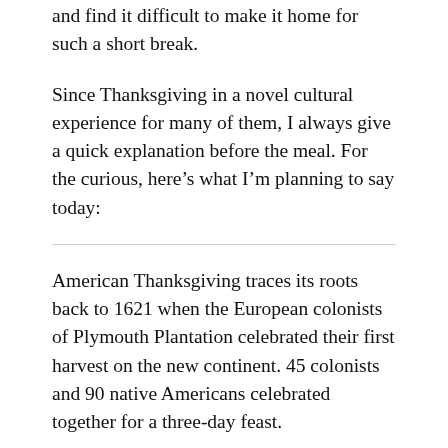and find it difficult to make it home for such a short break.
Since Thanksgiving in a novel cultural experience for many of them, I always give a quick explanation before the meal. For the curious, here’s what I’m planning to say today:
American Thanksgiving traces its roots back to 1621 when the European colonists of Plymouth Plantation celebrated their first harvest on the new continent. 45 colonists and 90 native Americans celebrated together for a three-day feast.